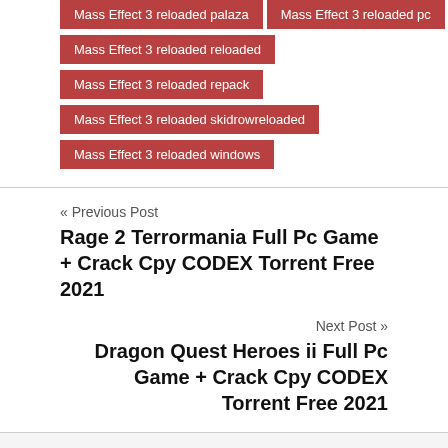Mass Effect 3 reloaded palaza
Mass Effect 3 reloaded pc
Mass Effect 3 reloaded reloaded
Mass Effect 3 reloaded repack
Mass Effect 3 reloaded skidrowreloaded
Mass Effect 3 reloaded windows
« Previous Post
Rage 2 Terrormania Full Pc Game + Crack Cpy CODEX Torrent Free 2021
Next Post »
Dragon Quest Heroes ii Full Pc Game + Crack Cpy CODEX Torrent Free 2021
Leave a Reply